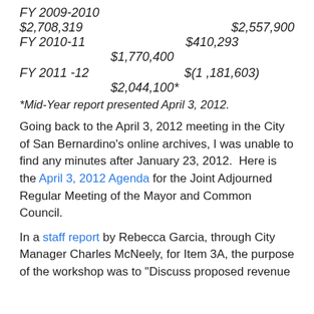FY 2009-2010
$2,708,319    $2,557,900
FY 2010-11    $410,293
$1,770,400
FY 2011 -12    $(1 ,181,603)
$2,044,100*
*Mid-Year report presented April 3, 2012.
Going back to the April 3, 2012 meeting in the City of San Bernardino's online archives, I was unable to find any minutes after January 23, 2012.  Here is the April 3, 2012 Agenda for the Joint Adjourned Regular Meeting of the Mayor and Common Council.
In a staff report by Rebecca Garcia, through City Manager Charles McNeely, for Item 3A, the purpose of the workshop was to "Discuss proposed revenue